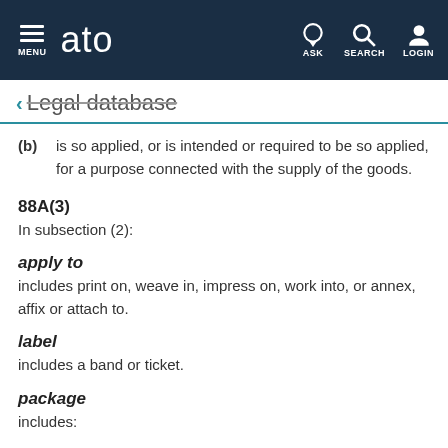MENU   ato   ASK   SEARCH   LOGIN
← Legal database
(b)  is so applied, or is intended or required to be so applied, for a purpose connected with the supply of the goods.
88A(3)
In subsection (2):
apply to
includes print on, weave in, impress on, work into, or annex, affix or attach to.
label
includes a band or ticket.
package
includes: